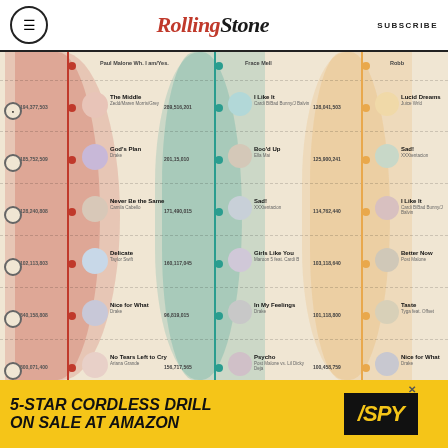Rolling Stone — SUBSCRIBE
[Figure (infographic): Rolling Stone music chart infographic showing three columns of song rankings with streaming play counts. Left column (red) shows Spotify-style rankings, middle column (teal) shows another platform, right column (gold/amber) shows a third platform. Songs listed include: The Middle (Zedd/Maren Morris/Grey), God's Plan (Drake), Never Be the Same (Camila Cabello), Delicate (Taylor Swift), Nice for What (Drake), No Tears Left to Cry (Ariana Grande), Mine (Bazzi), I Like It (Cardi B/Bad Bunny/J Balvin), Girls Like You (Maroon 5 feat. Cardi B) — Left column with play counts around 194-576 million. Middle column songs include: I Like It, Boo'd Up, Sad!, Girls Like You, In My Feelings, Psycho, Te Boté (Remix), Tusa, Pufo — with counts 130-289 million. Right column includes: Lucid Dreams, Sad!, I Like It, Better Now, Taste, Nice for What, Nonstop, Moonlight, You Indeed — with counts 90-128 million.]
[Figure (infographic): Advertisement: 5-STAR CORDLESS DRILL ON SALE AT AMAZON / SPY logo]